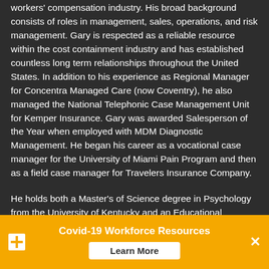workers' compensation industry. His broad background consists of roles in management, sales, operations, and risk management. Gary is respected as a reliable resource within the cost containment industry and has established countless long term relationships throughout the United States. In addition to his experience as Regional Manager for Concentra Managed Care (now Coventry), he also managed the National Telephonic Case Management Unit for Kemper Insurance. Gary was awarded Salesperson of the Year when employed with MDM Diagnostic Management. He began his career as a vocational case manager for the University of Miami Pain Program and then as a field case manager for Travelers Insurance Company.

He holds both a Master's of Science degree in Psychology from the University of Kentucky and an Educational Specialist degree in Counseling Psychology and Rehabilitation from the University of Missouri.
Covid-19 Workforce Resources
Learn More